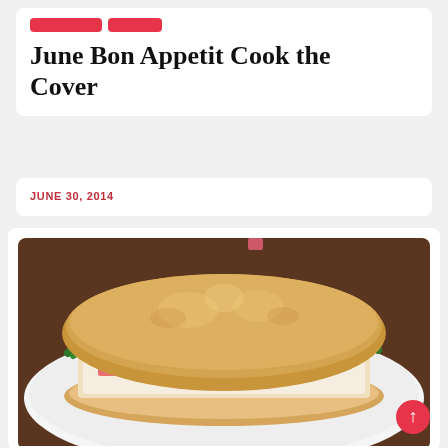June Bon Appetit Cook the Cover
JUNE 30, 2014
[Figure (photo): A sandwich on a white plate featuring a toasted golden roll filled with chunky seafood or chicken salad and topped with fresh arugula leaves.]